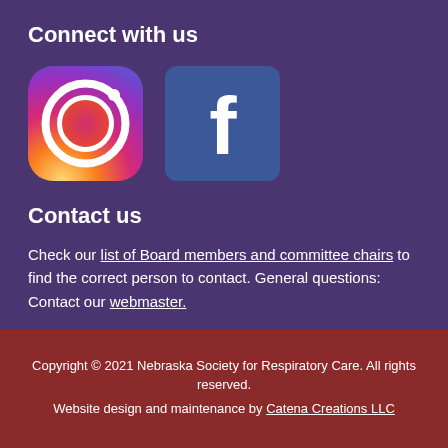Connect with us
[Figure (logo): Instagram logo icon — rounded square with gradient from orange/yellow at bottom to pink/red in center to purple at top, with white camera outline and dot]
[Figure (logo): Facebook logo icon — blue rounded square with white lowercase 'f' lettermark]
Contact us
Check our list of Board members and committee chairs to find the correct person to contact. General questions: Contact our webmaster.
Copyright © 2021 Nebraska Society for Respiratory Care. All rights reserved. Website design and maintenance by Catena Creations LLC